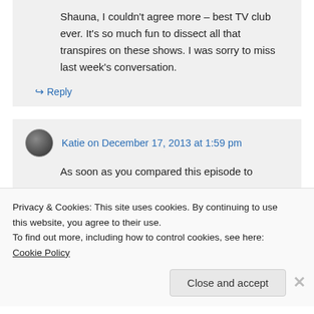Shauna, I couldn't agree more – best TV club ever. It's so much fun to dissect all that transpires on these shows. I was sorry to miss last week's conversation.
↳ Reply
Katie on December 17, 2013 at 1:59 pm
As soon as you compared this episode to
Privacy & Cookies: This site uses cookies. By continuing to use this website, you agree to their use. To find out more, including how to control cookies, see here: Cookie Policy
Close and accept